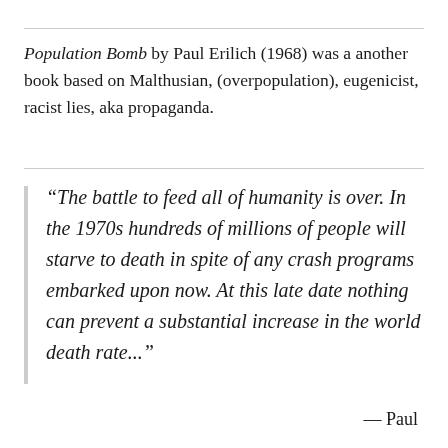Population Bomb by Paul Erilich (1968) was a another book based on Malthusian, (overpopulation), eugenicist, racist lies, aka propaganda.
“The battle to feed all of humanity is over. In the 1970s hundreds of millions of people will starve to death in spite of any crash programs embarked upon now. At this late date nothing can prevent a substantial increase in the world death rate...”
— Paul